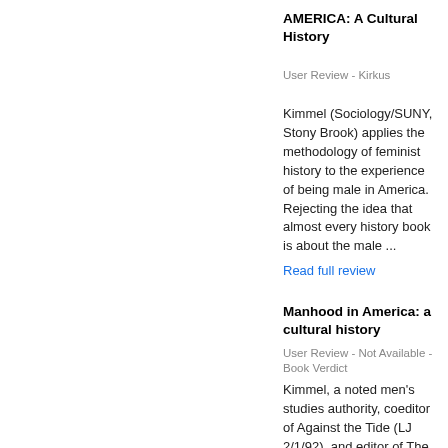AMERICA: A Cultural History
User Review - Kirkus
Kimmel (Sociology/SUNY, Stony Brook) applies the methodology of feminist history to the experience of being male in America. Rejecting the idea that almost every history book is about the male ...
Read full review
Manhood in America: a cultural history
User Review - Not Available - Book Verdict
Kimmel, a noted men's studies authority, coeditor of Against the Tide (LJ 2/1/92), and editor of The Politics of